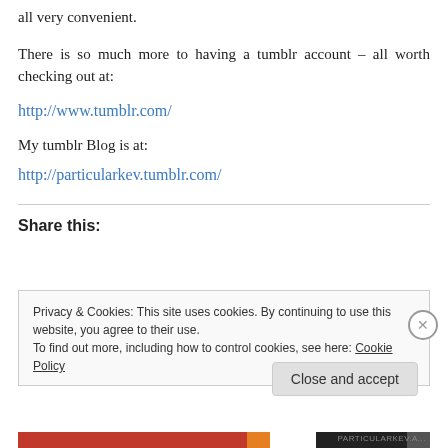all very convenient.
There is so much more to having a tumblr account – all worth checking out at:
http://www.tumblr.com/
My tumblr Blog is at:
http://particularkev.tumblr.com/
Share this:
Privacy & Cookies: This site uses cookies. By continuing to use this website, you agree to their use.
To find out more, including how to control cookies, see here: Cookie Policy
Close and accept